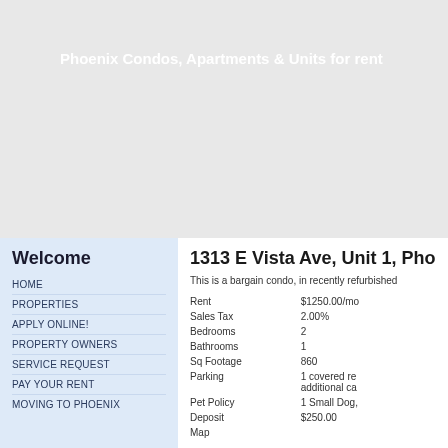Phoenix Condos, Apartments & Units for rent
Welcome
HOME
PROPERTIES
APPLY ONLINE!
PROPERTY OWNERS
SERVICE REQUEST
PAY YOUR RENT
MOVING TO PHOENIX
1313 E Vista Ave, Unit 1, Pho
This is a bargain condo, in recently refurbished
| Rent | $1250.00/mo |
| Sales Tax | 2.00% |
| Bedrooms | 2 |
| Bathrooms | 1 |
| Sq Footage | 860 |
| Parking | 1 covered re additional ca |
| Pet Policy | 1 Small Dog, |
| Deposit | $250.00 |
| Map |  |